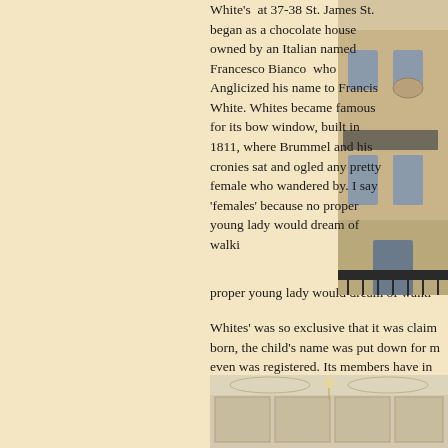White's at 37-38 St. James St. began as a chocolate house owned by an Italian named Francesco Bianco who Anglicized his name to Francis White. Whites became famous for its bow window, built in 1811, where Brummel and his cronies sat and ogled any pretty female who wandered by. I say 'females' because no proper young lady would dream of walki...
[Figure (photo): Exterior photograph of White's Club building at 37-38 St. James Street, showing a classical Georgian facade with ornate ironwork balcony]
Whites' was so exclusive that it was claim... born, the child's name was put down for m... even was registered. Its members have in... Alvanley, Horace Walpole Edward VII, E... current Prince of Wales.
[Figure (photo): Interior photograph of White's Club showing ornate ceiling with decorative plasterwork and chandelier]